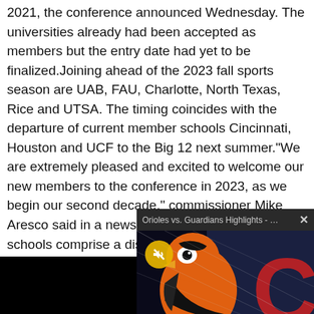2021, the conference announced Wednesday. The universities already had been accepted as members but the entry date had yet to be finalized.Joining ahead of the 2023 fall sports season are UAB, FAU, Charlotte, North Texas, Rice and UTSA. The timing coincides with the departure of current member schools Cincinnati, Houston and UCF to the Big 12 next summer."We are extremely pleased and excited to welcome our new members to the conference in 2023, as we begin our second decade," commissioner Mike Aresco said in a news release. "Our incoming schools comprise a distinguished group with attributes that will enhance our conference's Power 6 goals. We have already seen the investment and commitment that these institutions have made as they prepare to compete alongside our accomplished incumbent members who boast of many years of championships and promise a future that will build on the e
[Figure (screenshot): Video popup overlay showing 'Orioles vs. Guardians Highlights - Cal Q...' with a close button (x), a muted speaker icon button, and a thumbnail image of the Baltimore Orioles mascot bird in orange/black against a dark background with a large red letter C visible.]